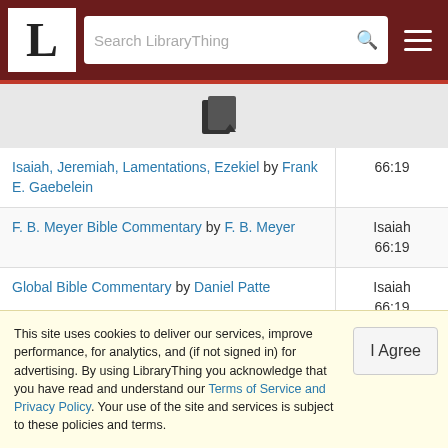LibraryThing - Search LibraryThing
[Figure (icon): Book/document icon with dropdown arrow]
| Book | Reference |
| --- | --- |
| Isaiah, Jeremiah, Lamentations, Ezekiel by Frank E. Gaebelein | 66:19 |
| F. B. Meyer Bible Commentary by F. B. Meyer | Isaiah 66:19 |
| Global Bible Commentary by Daniel Patte | Isaiah 66:19 |
| God's Word for Today: Isaiah: Herald of the Messiah by Concordia Publishing House | Isaiah 66:19 |
| [partial row] | Isaiah |
This site uses cookies to deliver our services, improve performance, for analytics, and (if not signed in) for advertising. By using LibraryThing you acknowledge that you have read and understand our Terms of Service and Privacy Policy. Your use of the site and services is subject to these policies and terms.